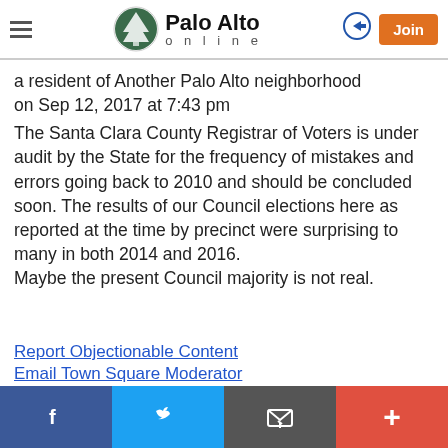Palo Alto online
a resident of Another Palo Alto neighborhood
on Sep 12, 2017 at 7:43 pm
The Santa Clara County Registrar of Voters is under audit by the State for the frequency of mistakes and errors going back to 2010 and should be concluded soon. The results of our Council elections here as reported at the time by precinct were surprising to many in both 2014 and 2016.
Maybe the present Council majority is not real.
Report Objectionable Content
Email Town Square Moderator
Facebook  Twitter  Email  +